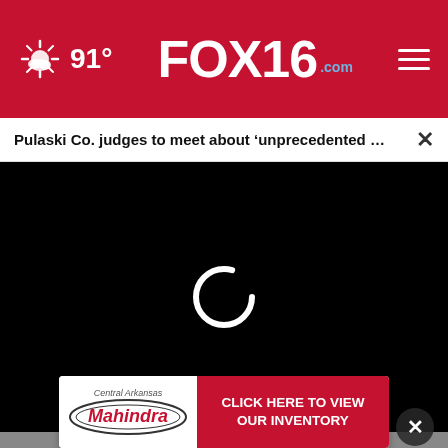FOX16.com — 91°
Pulaski Co. judges to meet about 'unprecedented …
[Figure (screenshot): Video player loading screen with black background and white spinner/loading indicator in center]
[Figure (photo): Photo strip showing crowd of people outdoors]
[Figure (infographic): Central Arkansas Mahindra advertisement banner: CLICK HERE TO VIEW OUR INVENTORY]